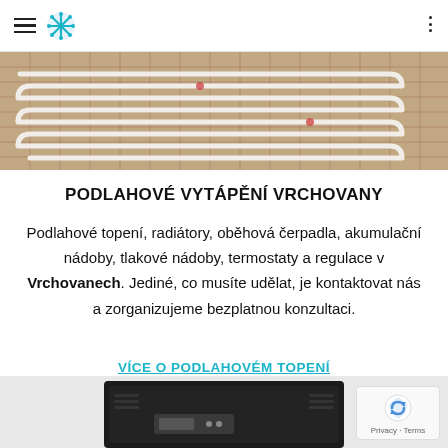Navigation header with hamburger menu, logo, and three-dot menu
[Figure (photo): Overhead view of underfloor heating pipe installation — white pipes in serpentine pattern on orange/terracotta grid mesh]
PODLAHOVÉ VYTÁPĚNÍ VRCHOVANY
Podlahové topení, radiátory, oběhová čerpadla, akumulační nádoby, tlakové nádoby, termostaty a regulace v Vrchovanech. Jediné, co musíte udělat, je kontaktovat nás a zorganizujeme bezplatnou konzultaci.
VÍCE O PODLAHOVÉM TOPENÍ
[Figure (photo): Black heat pump or HVAC unit, partially visible at bottom of page]